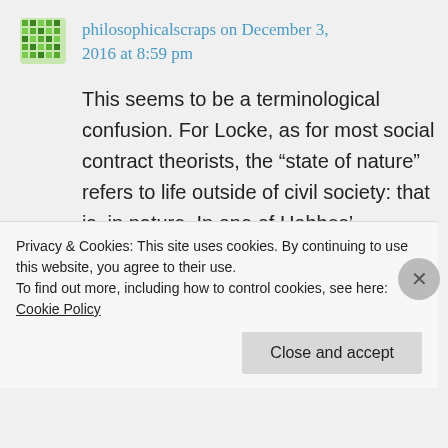philosophicalscraps on December 3, 2016 at 8:59 pm
This seems to be a terminological confusion. For Locke, as for most social contract theorists, the “state of nature” refers to life outside of civil society: that is, in nature. In one of Hobbes’ examples, he asks us to imagine men as having sprung full-
Privacy & Cookies: This site uses cookies. By continuing to use this website, you agree to their use.
To find out more, including how to control cookies, see here: Cookie Policy